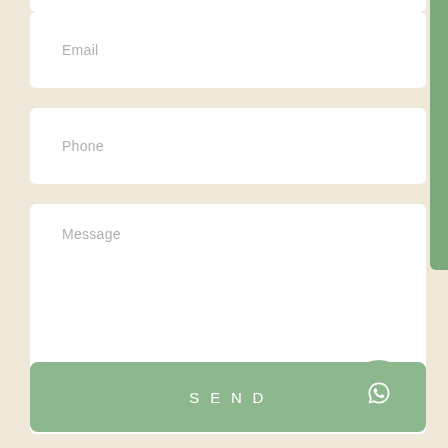[Figure (screenshot): Web contact form with Email input field placeholder text]
Email
Phone
Message
SEND